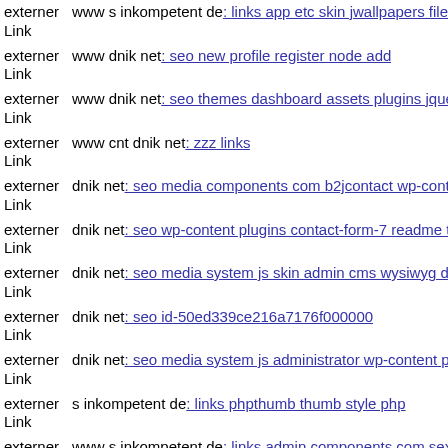externer Link  www s inkompetent de: links app etc skin jwallpapers files
externer Link  www dnik net: seo new profile register node add
externer Link  www dnik net: seo themes dashboard assets plugins jquery-
externer Link  www cnt dnik net: zzz links
externer Link  dnik net: seo media components com b2jcontact wp-conten
externer Link  dnik net: seo wp-content plugins contact-form-7 readme txt
externer Link  dnik net: seo media system js skin admin cms wysiwyg dire
externer Link  dnik net: seo id-50ed339ce216a7176f000000
externer Link  dnik net: seo media system js administrator wp-content plug
externer Link  s inkompetent de: links phpthumb thumb style php
externer Link  www s inkompetent de: links admin components com sexye